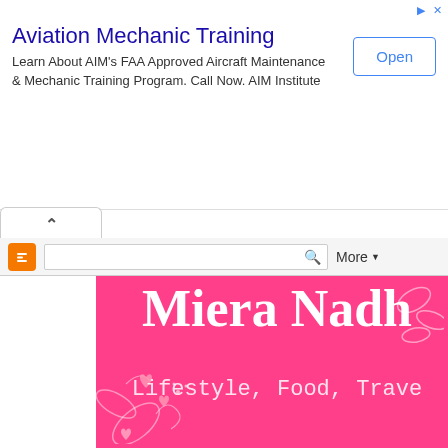[Figure (screenshot): Advertisement banner for Aviation Mechanic Training with title, description text, and Open button]
Aviation Mechanic Training
Learn About AIM's FAA Approved Aircraft Maintenance & Mechanic Training Program. Call Now. AIM Institute
[Figure (screenshot): Blogger navigation bar with collapse tab, Blogger icon, search box, and More dropdown]
[Figure (screenshot): Blog header with hot pink background, floral decoration, blog title 'Miera Nadh...' and subtitle 'Lifestyle, Food, Trave...']